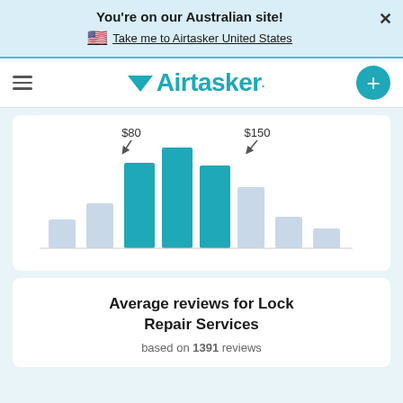You're on our Australian site!
Take me to Airtasker United States
[Figure (bar-chart): Bar chart showing price distribution with highlighted bars at $80 and $150 range, teal colored bars in the middle, lighter bars on the sides]
Average reviews for Lock Repair Services
based on 1391 reviews